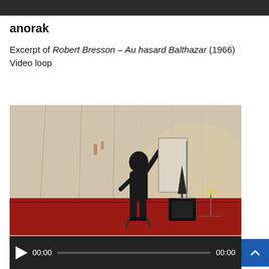[Figure (photo): Dark strip at top of page, partial image cropped]
anorak
Excerpt of Robert Bresson – Au hasard Balthazar (1966)
Video loop
[Figure (photo): A person seated on a chair in a room with white curtains and red floor, raising their arm upward toward a large canvas or board. A music stand and speakers are visible to the left, and a lamp stand to the right.]
[Figure (screenshot): Video player controls bar showing play button, time 00:00, progress bar, and end time 00:00 on dark background]